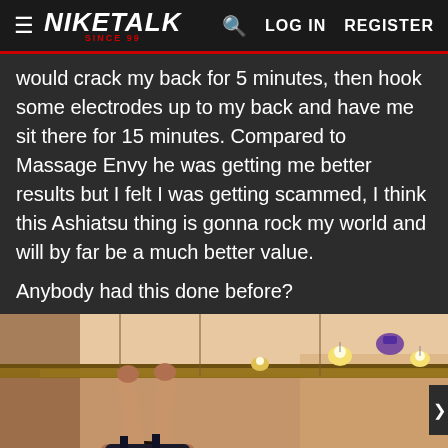NIKETALK SINCE 99 | LOG IN | REGISTER
would crack my back for 5 minutes, then hook some electrodes up to my back and have me sit there for 15 minutes. Compared to Massage Envy he was getting me better results but I felt I was getting scammed, I think this Ashiatsu thing is gonna rock my world and will by far be a much better value.
Anybody had this done before?
[Figure (photo): Photo of a massage therapist holding onto ceiling bars, performing Ashiatsu massage technique. Warm-toned room with track lighting visible on ceiling.]
[Figure (other): Advertisement banner: 'WELCOME TO THE FAMILY.' on red background with 'THE FINAL GAMBIT READ NOW' on dark right panel.]